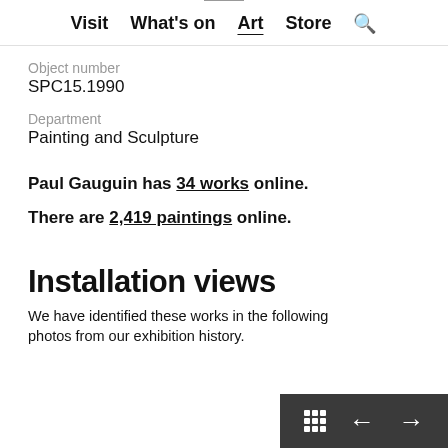Visit  What's on  Art  Store  🔍
Object number
SPC15.1990
Department
Painting and Sculpture
Paul Gauguin has 34 works online.
There are 2,419 paintings online.
Installation views
We have identified these works in the following photos from our exhibition history.